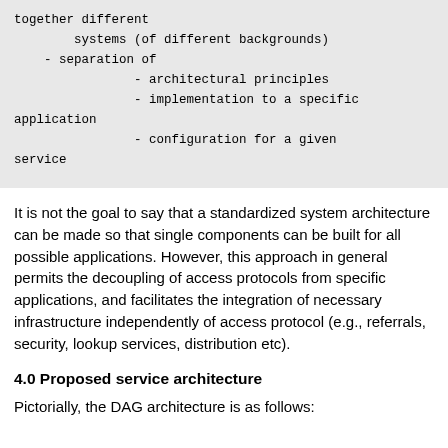together different
        systems (of different backgrounds)
    - separation of
                - architectural principles
                - implementation to a specific
application
                - configuration for a given
service
It is not the goal to say that a standardized system architecture can be made so that single components can be built for all possible applications. However, this approach in general permits the decoupling of access protocols from specific applications, and facilitates the integration of necessary infrastructure independently of access protocol (e.g., referrals, security, lookup services, distribution etc).
4.0 Proposed service architecture
Pictorially, the DAG architecture is as follows: